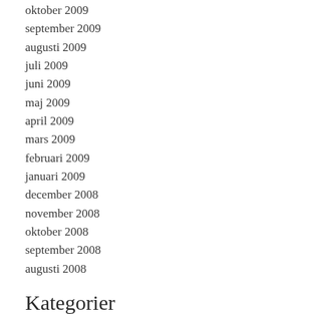oktober 2009
september 2009
augusti 2009
juli 2009
juni 2009
maj 2009
april 2009
mars 2009
februari 2009
januari 2009
december 2008
november 2008
oktober 2008
september 2008
augusti 2008
Kategorier